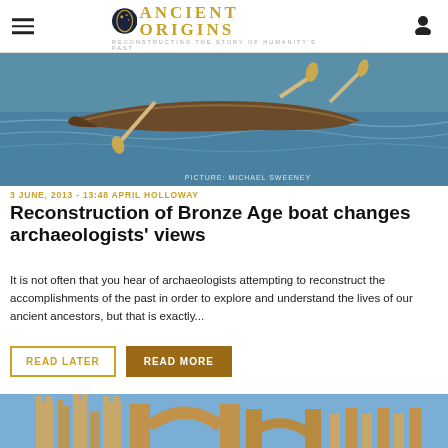Ancient Origins — Reconstructing the story of humanity's past
[Figure (photo): Reconstruction of a Bronze Age boat on the water with paddles, photo credit: Michael Sweeney]
3 JUNE, 2013 - 13:48 APRIL HOLLOWAY
Reconstruction of Bronze Age boat changes archaeologists' views
It is not often that you hear of archaeologists attempting to reconstruct the accomplishments of the past in order to explore and understand the lives of our ancient ancestors, but that is exactly...
READ LATER  READ MORE
[Figure (photo): Ancient stone architecture with arches, partial view]